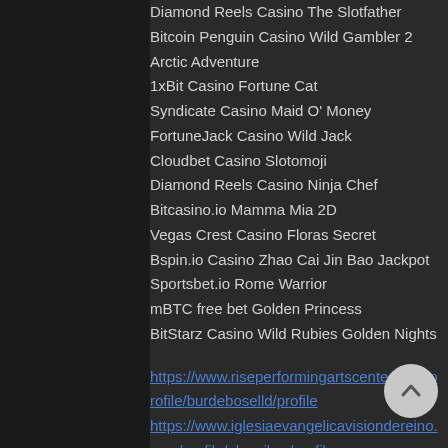Diamond Reels Casino The Slotfather
Bitcoin Penguin Casino Wild Gambler 2 Arctic Adventure
1xBit Casino Fortune Cat
Syndicate Casino Maid O' Money
FortuneJack Casino Wild Jack
Cloudbet Casino Slotomoji
Diamond Reels Casino Ninja Chef
Bitcasino.io Mamma Mia 2D
Vegas Crest Casino Floras Secret
Bspin.io Casino Zhao Cai Jin Bao Jackpot
Sportsbet.io Rome Warrior
mBTC free bet Golden Princess
BitStarz Casino Wild Rubies Golden Nights
https://www.riseperformingartscenter.com/profile/burdeboselld/profile
https://www.iglesiaevangelicavisiondereino.com/profile/alvenilgw/profile
https://www.jesusourboss.com/profile/b...marshf/profile
https://www.amrheinwine.com/profile/valezno